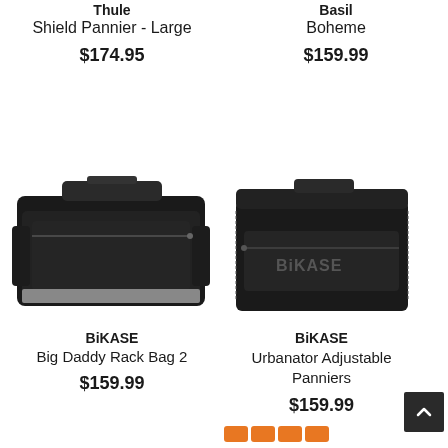Thule
Shield Pannier - Large
$174.95
Basil
Boheme
$159.99
[Figure (photo): BiKASE Big Daddy Rack Bag 2 - black trunk bag with reflective stripe]
BiKASE
Big Daddy Rack Bag 2
$159.99
[Figure (photo): BiKASE Urbanator Adjustable Panniers - black pannier bag with BiKASE logo]
BiKASE
Urbanator Adjustable Panniers
$159.99